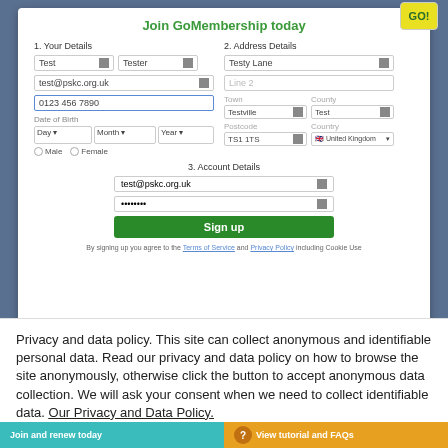[Figure (screenshot): GoMembership signup form with fields for Your Details (name, email, phone, date of birth, gender), Address Details (street, town, county, postcode, country), and Account Details (email, password). Features a Sign up button and Terms of Service note.]
Privacy and data policy. This site can collect anonymous and identifiable personal data. Read our privacy and data policy on how to browse the site anonymously, otherwise click the button to accept anonymous data collection. We will ask your consent when we need to collect identifiable data. Our Privacy and Data Policy.
Close and accept
Join and renew today
View tutorial and FAQs